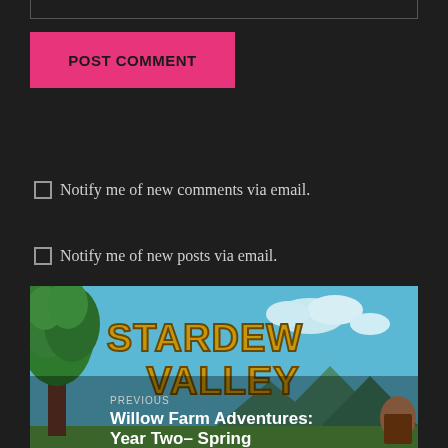POST COMMENT
Notify me of new comments via email.
Notify me of new posts via email.
This site uses Akismet to reduce spam. Learn how your comment data is processed.
[Figure (illustration): Stardew Valley game screenshot showing a farm scene with trees, sky, and the 'STARDEW VALLEY' game logo with text overlay: PREVIOUS - Willow Farm Adventures: Year Two- Spring]